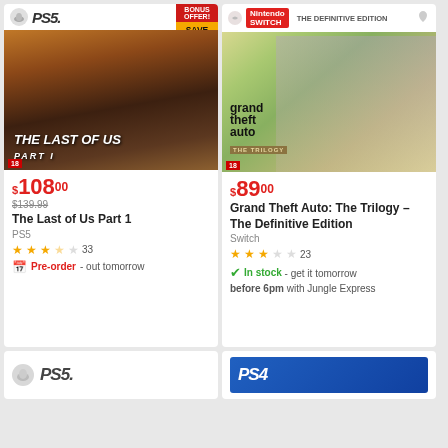[Figure (screenshot): The Last of Us Part 1 PS5 game cover with female character silhouette, orange desert background. Bonus offer badge: red 'BONUS OFFER!' and yellow 'SAVE $31' triangle.]
$108.00
$139.99
The Last of Us Part 1
PS5
33
Pre-order - out tomorrow
[Figure (screenshot): Grand Theft Auto: The Trilogy – The Definitive Edition Nintendo Switch game cover with three female characters in comic style.]
$89.00
Grand Theft Auto: The Trilogy – The Definitive Edition
Switch
23
In stock - get it tomorrow before 6pm with Jungle Express
[Figure (screenshot): Partial PS5 card at bottom left]
[Figure (screenshot): Partial PS4 card at bottom right]